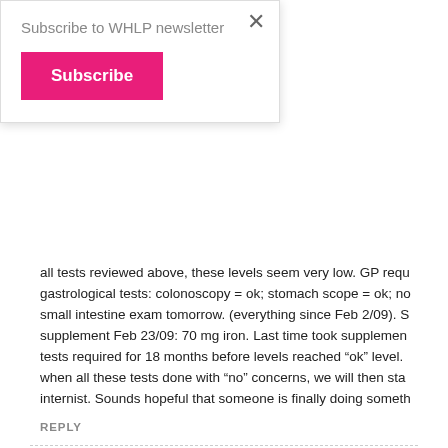Subscribe to WHLP newsletter
Subscribe
all tests reviewed above, these levels seem very low. GP requ gastrological tests: colonoscopy = ok; stomach scope = ok; no small intestine exam tomorrow. (everything since Feb 2/09). S supplement Feb 23/09: 70 mg iron. Last time took supplemen tests required for 18 months before levels reached “ok” level. when all these tests done with “no” concerns, we will then sta internist. Sounds hopeful that someone is finally doing someth
REPLY
Tania   March 16, 2009 at 6:28 pm
I would really want to hear from people who raised their iron a difference, how they feel and if they see any hair loss changes raised your ferritin level? please share your positive experienc